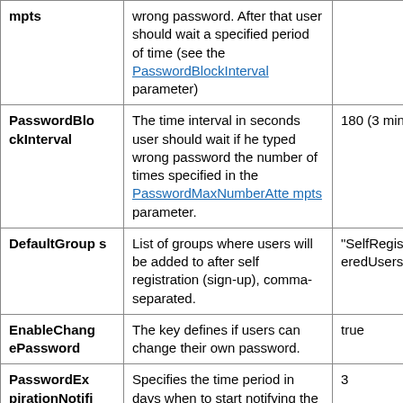| mpts | wrong password. After that user should wait a specified period of time (see the PasswordBlockInterval parameter) |  |
| PasswordBlockInterval | The time interval in seconds user should wait if he typed wrong password the number of times specified in the PasswordMaxNumberAttempts parameter. | 180 (3 minutes) |
| DefaultGroups | List of groups where users will be added to after self registration (sign-up), comma-separated. | "SelfRegisteredUsers" |
| EnableChangePassword | The key defines if users can change their own password. | true |
| PasswordExpirationNotification | Specifies the time period in days when to start notifying the user about | 3 |